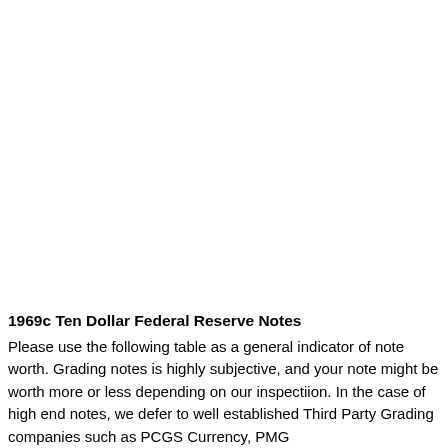1969c Ten Dollar Federal Reserve Notes
Please use the following table as a general indicator of note worth. Grading notes is highly subjective, and your note might be worth more or less depending on our inspectiion. In the case of high end notes, we defer to well established Third Party Grading companies such as PCGS Currency, PMG...